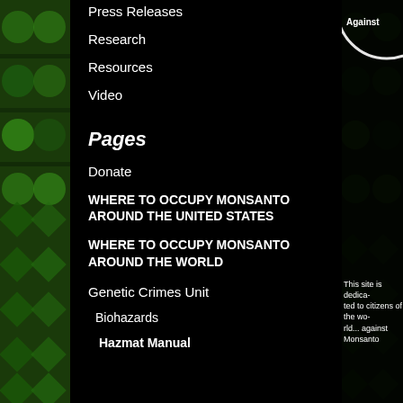Press Releases
Research
Resources
Video
Pages
Donate
WHERE TO OCCUPY MONSANTO AROUND THE UNITED STATES
WHERE TO OCCUPY MONSANTO AROUND THE WORLD
Genetic Crimes Unit
Biohazards
Hazmat Manual
This site is dedicated to citizens of the world... against Monsanto
Enter your email for periodic updates:
Sign Up